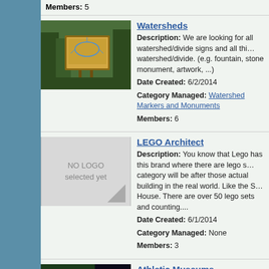Members: 5
Watersheds
Description: We are looking for all watershed/divide signs and all things related to watershed/divide. (e.g. fountain, stone monument, artwork, ...)
Date Created: 6/2/2014
Category Managed: Watershed Markers and Monuments
Members: 6
LEGO Architect
Description: You know that Lego has this brand where there are lego sets that the category will be after those actual building in the real world. Like the S House. There are over 50 lego sets and counting....
Date Created: 6/1/2014
Category Managed: None
Members: 3
Athletic Museums
Description: To categorize museums that specialize in athletics.
Date Created: 5/30/2014
Category Managed: None
Members: 2
Wawa Shoppers
Description: Wawa Inc. is a chain of convenience store/gas stations lo